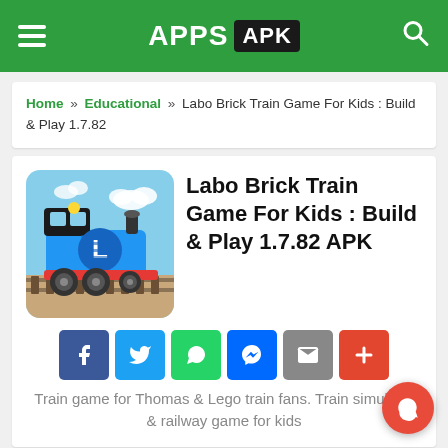APPS APK
Home » Educational » Labo Brick Train Game For Kids : Build & Play 1.7.82
[Figure (illustration): App icon showing a blue cartoon train (Thomas-style) on tracks with a light blue sky background, with the letter L on the train body]
Labo Brick Train Game For Kids : Build & Play 1.7.82 APK
Social sharing buttons: Facebook, Twitter, WhatsApp, Messenger, Email, More
Train game for Thomas & Lego train fans. Train simulator & railway game for kids
[Figure (screenshot): Four app screenshots showing various train scenes]